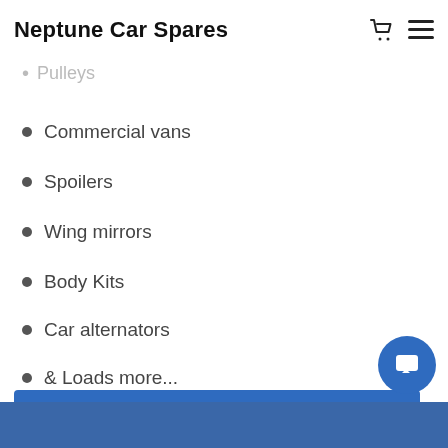Neptune Car Spares
Van parts
Pulleys
Commercial vans
Spoilers
Wing mirrors
Body Kits
Car alternators
& Loads more...
CLICK HERE FOR PARTS INQUIRY